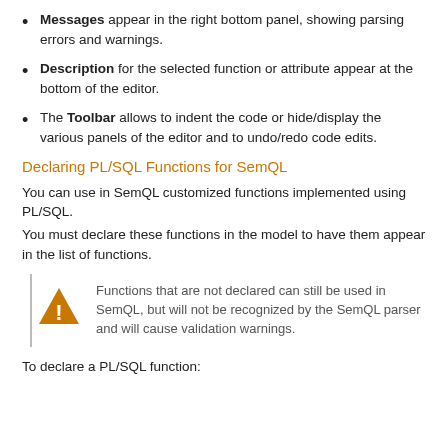Messages appear in the right bottom panel, showing parsing errors and warnings.
Description for the selected function or attribute appear at the bottom of the editor.
The Toolbar allows to indent the code or hide/display the various panels of the editor and to undo/redo code edits.
Declaring PL/SQL Functions for SemQL
You can use in SemQL customized functions implemented using PL/SQL.
You must declare these functions in the model to have them appear in the list of functions.
[Figure (infographic): Warning callout box with triangle warning icon and text: Functions that are not declared can still be used in SemQL, but will not be recognized by the SemQL parser and will cause validation warnings.]
To declare a PL/SQL function: